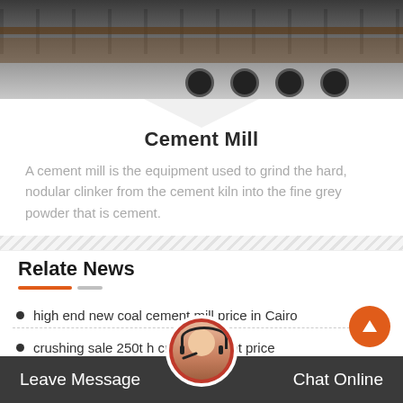[Figure (photo): Industrial trucks or machinery visible at top of page, dark grey tones]
Cement Mill
A cement mill is the equipment used to grind the hard, nodular clinker from the cement kiln into the fine grey powder that is cement.
Relate News
high end new coal cement mill price in Cairo
crushing sale 250t h crushing plant price
Butare low price potash feldspar tal crusher sell
Leave Message   Chat Online